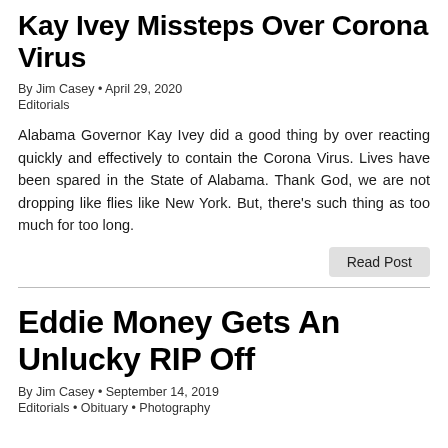Kay Ivey Missteps Over Corona Virus
By Jim Casey • April 29, 2020
Editorials
Alabama Governor Kay Ivey did a good thing by over reacting quickly and effectively to contain the Corona Virus. Lives have been spared in the State of Alabama. Thank God, we are not dropping like flies like New York. But, there's such thing as too much for too long.
Read Post
Eddie Money Gets An Unlucky RIP Off
By Jim Casey • September 14, 2019
Editorials • Obituary • Photography